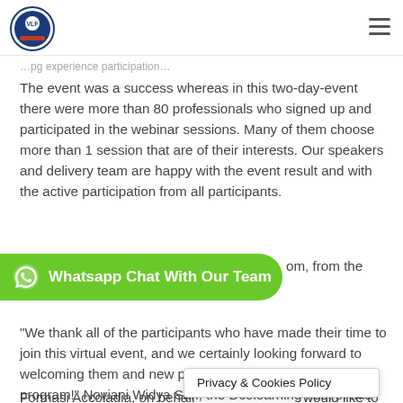[Logo] [Hamburger menu]
The event was a success whereas in this two-day-event there were more than 80 professionals who signed up and participated in the webinar sessions. Many of them choose more than 1 session that are of their interests. Our speakers and delivery team are happy with the event result and with the active participation from all participants.
[Figure (other): Green WhatsApp chat button overlay: 'Whatsapp Chat With Our Team']
om, from the experience of these webinars.
"We thank all of the participants who have made their time to join this virtual event, and we certainly looking forward to welcoming them and new participants in our next VLF program!" Noviani Widya Sari, the Dcolearning host of this event added.
Formasi Accoladia, on behalf would like to
Privacy & Cookies Policy